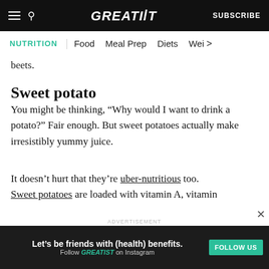GREATIST | SUBSCRIBE
NUTRITION | Food  Meal Prep  Diets  Wei >
beets.
Sweet potato
You might be thinking, “Why would I want to drink a potato?” Fair enough. But sweet potatoes actually make irresistibly yummy juice.
It doesn’t hurt that they’re uber-nutritious too. Sweet potatoes are loaded with vitamin A, vitamin
[Figure (screenshot): Advertisement banner: Let’s be friends with (health) benefits. Follow GREATIST on Instagram. FOLLOW US button.]